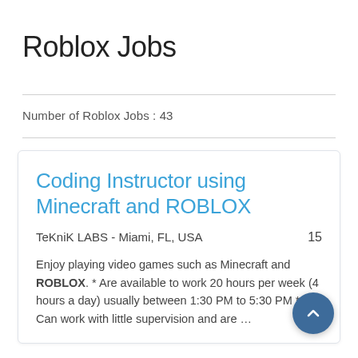Roblox Jobs
Number of Roblox Jobs : 43
Coding Instructor using Minecraft and ROBLOX
TeKniK LABS - Miami, FL, USA	15
Enjoy playing video games such as Minecraft and ROBLOX. * Are available to work 20 hours per week (4 hours a day) usually between 1:30 PM to 5:30 PM * Can work with little supervision and are …